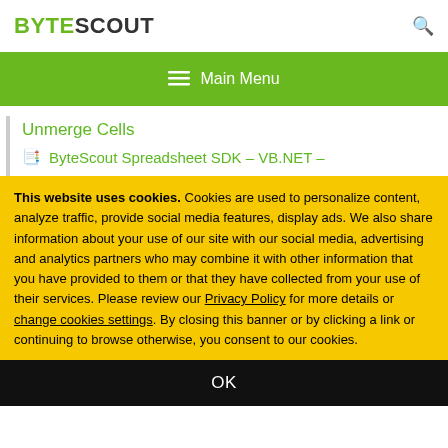BYTESCOUT
Main Menu
Unmerge Cells
ByteScout Spreadsheet SDK – VB.NET –
This website uses cookies. Cookies are used to personalize content, analyze traffic, provide social media features, display ads. We also share information about your use of our site with our social media, advertising and analytics partners who may combine it with other information that you have provided to them or that they have collected from your use of their services. Please review our Privacy Policy for more details or change cookies settings. By closing this banner or by clicking a link or continuing to browse otherwise, you consent to our cookies.
OK